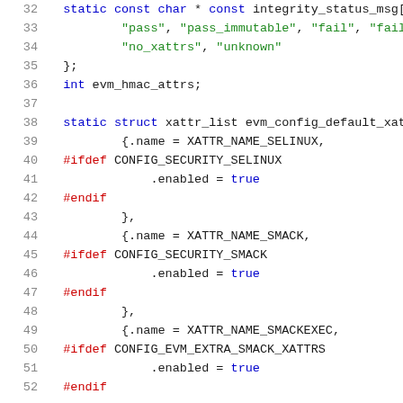[Figure (screenshot): Source code listing in C showing lines 32-52 of a kernel file. Lines are numbered on the left. Code defines integrity_status_msg array, evm_hmac_attrs integer, and evm_config_default_xattrs struct with xattr entries for SELINUX, SMACK, and SMACKEXEC, each with conditional #ifdef CONFIG blocks enabling xattrs.]